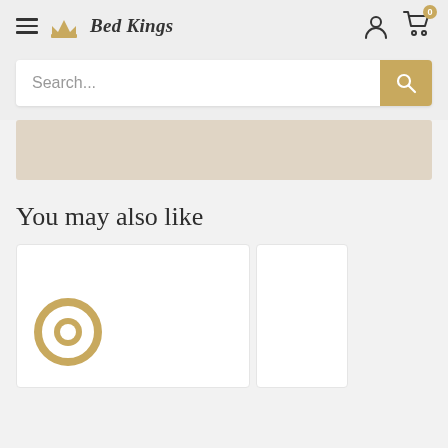Bed Kings
Search...
You may also like
[Figure (screenshot): Product card with chat bubble icon placeholder]